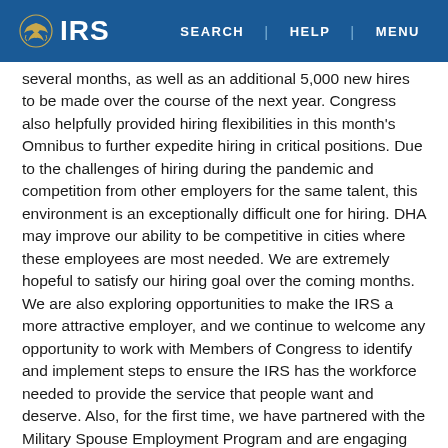IRS | SEARCH | HELP | MENU
several months, as well as an additional 5,000 new hires to be made over the course of the next year. Congress also helpfully provided hiring flexibilities in this month's Omnibus to further expedite hiring in critical positions. Due to the challenges of hiring during the pandemic and competition from other employers for the same talent, this environment is an exceptionally difficult one for hiring. DHA may improve our ability to be competitive in cities where these employees are most needed. We are extremely hopeful to satisfy our hiring goal over the coming months. We are also exploring opportunities to make the IRS a more attractive employer, and we continue to welcome any opportunity to work with Members of Congress to identify and implement steps to ensure the IRS has the workforce needed to provide the service that people want and deserve. Also, for the first time, we have partnered with the Military Spouse Employment Program and are engaging contractors while aggressively pursuing our hiring goals We are grateful for the specific direct hiring authority language included in the omnibus